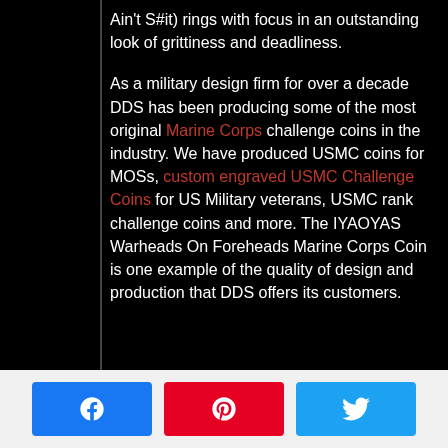Ain't S#it) rings with focus in an outstanding look of grittiness and deadliness.

As a military design firm for over a decade DDS has been producing some of the most original Marine Corps challenge coins in the industry. We have produced USMC coins for MOSs, custom engraved USMC Challenge Coins for US Military veterans, USMC rank challenge coins and more. The IYAOYAS Warheads On Foreheads Marine Corps Coin is one example of the quality of design and production that DDS offers its customers.
[Figure (other): Social sharing buttons: Facebook (blue), Pinterest (red), Twitter (blue)]